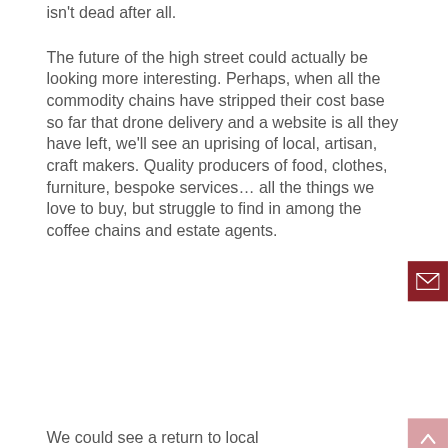isn't dead after all.
The future of the high street could actually be looking more interesting. Perhaps, when all the commodity chains have stripped their cost base so far that drone delivery and a website is all they have left, we'll see an uprising of local, artisan, craft makers. Quality producers of food, clothes, furniture, bespoke services… all the things we love to buy, but struggle to find in among the coffee chains and estate agents.
We could see a return to local